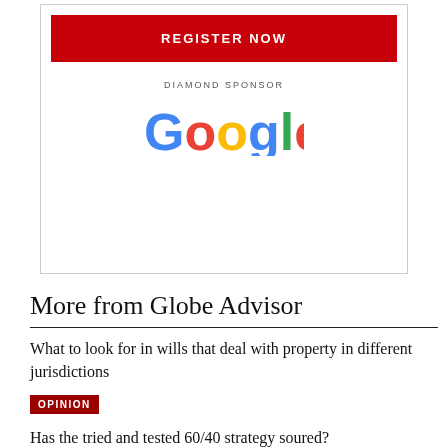[Figure (other): Register Now button (red) with Diamond Sponsor label and Google logo below it, inside a bordered ad box]
More from Globe Advisor
What to look for in wills that deal with property in different jurisdictions
OPINION
Has the tried and tested 60/40 strategy soured?
MAYA BHANDARI
Six stocks set to benefit from new U.S. law tackling climate change